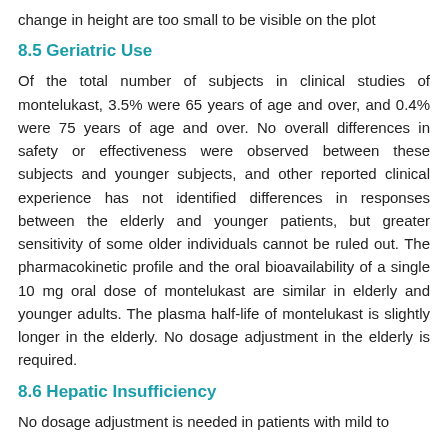change in height are too small to be visible on the plot
8.5 Geriatric Use
Of the total number of subjects in clinical studies of montelukast, 3.5% were 65 years of age and over, and 0.4% were 75 years of age and over. No overall differences in safety or effectiveness were observed between these subjects and younger subjects, and other reported clinical experience has not identified differences in responses between the elderly and younger patients, but greater sensitivity of some older individuals cannot be ruled out. The pharmacokinetic profile and the oral bioavailability of a single 10 mg oral dose of montelukast are similar in elderly and younger adults. The plasma half-life of montelukast is slightly longer in the elderly. No dosage adjustment in the elderly is required.
8.6 Hepatic Insufficiency
No dosage adjustment is needed in patients with mild to...